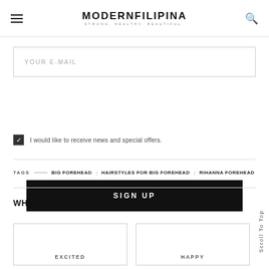MODERNFILIPINA STRONG. HEALTHY. BEAUTIFUL.
YOUR E-MAIL
SIGN UP
I would like to receive news and special offers.
TAGS — BIG FOREHEAD   HAIRSTYLES FOR BIG FOREHEAD   RIHANNA FOREHEAD
WHAT'S YOUR REACTION?
EXCITED
HAPPY
Scroll To Top